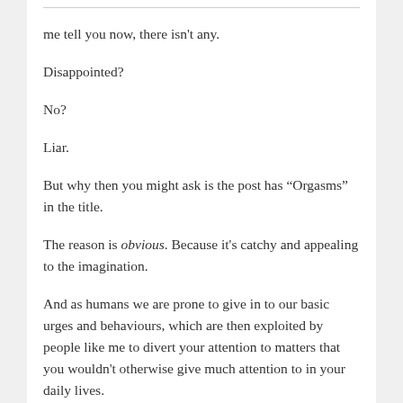me tell you now, there isn't any.
Disappointed?
No?
Liar.
But why then you might ask is the post has “Orgasms” in the title.
The reason is obvious. Because it's catchy and appealing to the imagination.
And as humans we are prone to give in to our basic urges and behaviours, which are then exploited by people like me to divert your attention to matters that you wouldn't otherwise give much attention to in your daily lives.